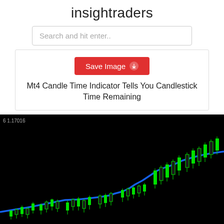insightraders
Search and hit enter..
[Figure (screenshot): Save Image button with download icon]
Mt4 Candle Time Indicator Tells You Candlestick Time Remaining
[Figure (screenshot): MT4 candlestick chart with green candles on black background and a blue moving average line trending upward. Price label shows '6 1.17016' in top left corner.]